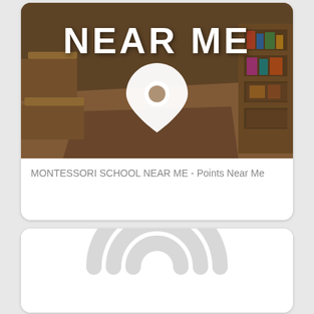[Figure (photo): Montessori classroom interior with wooden tables and bookshelves, overlaid with large white bold text 'NEAR ME' and a white map pin/location icon in the center]
MONTESSORI SCHOOL NEAR ME - Points Near Me
[Figure (illustration): Partial view of a second card showing a light gray circular arc/wifi or location symbol at the bottom of the page]